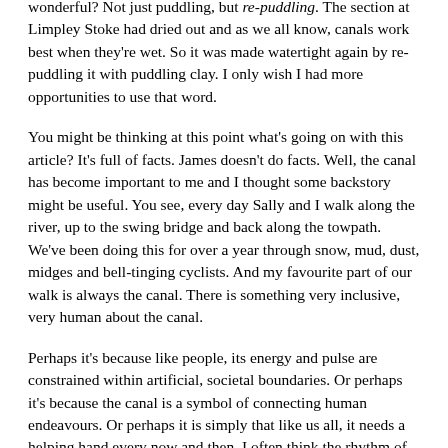wonderful? Not just puddling, but re-puddling. The section at Limpley Stoke had dried out and as we all know, canals work best when they're wet. So it was made watertight again by re-puddling it with puddling clay. I only wish I had more opportunities to use that word.
You might be thinking at this point what's going on with this article? It's full of facts. James doesn't do facts. Well, the canal has become important to me and I thought some backstory might be useful. You see, every day Sally and I walk along the river, up to the swing bridge and back along the towpath. We've been doing this for over a year through snow, mud, dust, midges and bell-tinging cyclists. And my favourite part of our walk is always the canal. There is something very inclusive, very human about the canal.
Perhaps it's because like people, its energy and pulse are constrained within artificial, societal boundaries. Or perhaps it's because the canal is a symbol of connecting human endeavours. Or perhaps it is simply that like us all, it needs a helping hand every now and then. I often think the rhythm of the canal ripples into the wider town – not literally of course, or we'd be soaked –